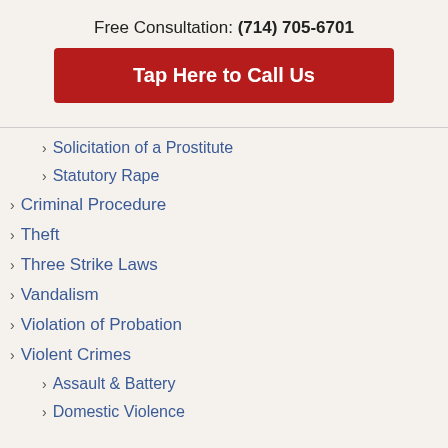Free Consultation: (714) 705-6701
Tap Here to Call Us
Solicitation of a Prostitute
Statutory Rape
Criminal Procedure
Theft
Three Strike Laws
Vandalism
Violation of Probation
Violent Crimes
Assault & Battery
Domestic Violence